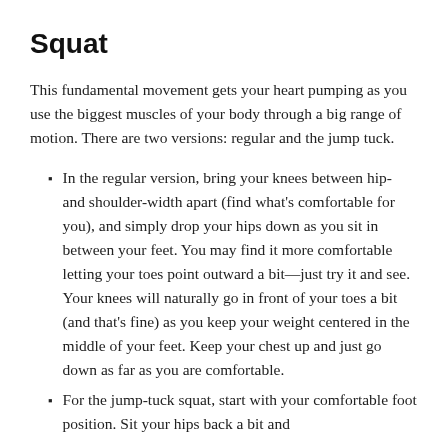Squat
This fundamental movement gets your heart pumping as you use the biggest muscles of your body through a big range of motion. There are two versions: regular and the jump tuck.
In the regular version, bring your knees between hip- and shoulder-width apart (find what’s comfortable for you), and simply drop your hips down as you sit in between your feet. You may find it more comfortable letting your toes point outward a bit—just try it and see. Your knees will naturally go in front of your toes a bit (and that’s fine) as you keep your weight centered in the middle of your feet. Keep your chest up and just go down as far as you are comfortable.
For the jump-tuck squat, start with your comfortable foot position. Sit your hips back a bit and